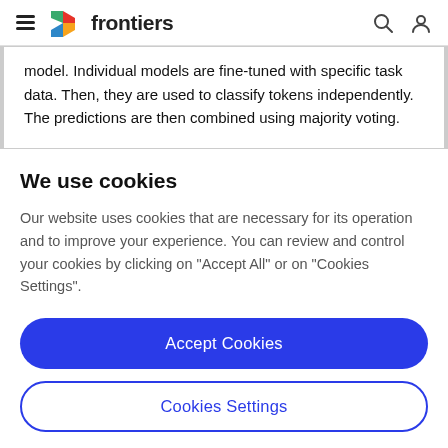frontiers
model. Individual models are fine-tuned with specific task data. Then, they are used to classify tokens independently. The predictions are then combined using majority voting.
We use cookies
Our website uses cookies that are necessary for its operation and to improve your experience. You can review and control your cookies by clicking on "Accept All" or on "Cookies Settings".
Accept Cookies
Cookies Settings